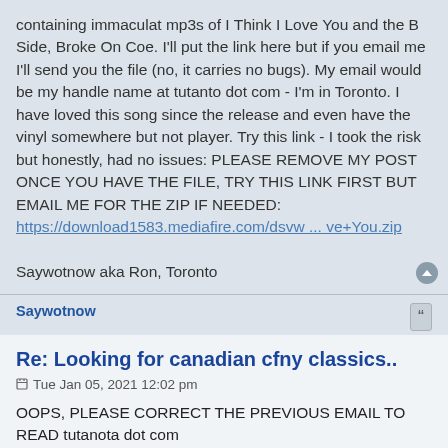containing immaculat mp3s of I Think I Love You and the B Side, Broke On Coe. I'll put the link here but if you email me I'll send you the file (no, it carries no bugs). My email would be my handle name at tutanto dot com - I'm in Toronto. I have loved this song since the release and even have the vinyl somewhere but not player. Try this link - I took the risk but honestly, had no issues: PLEASE REMOVE MY POST ONCE YOU HAVE THE FILE, TRY THIS LINK FIRST BUT EMAIL ME FOR THE ZIP IF NEEDED:
https://download1583.mediafire.com/dsvw ... ve+You.zip

Saywotnow aka Ron, Toronto
Saywotnow
Re: Looking for canadian cfny classics..
Tue Jan 05, 2021 12:02 pm
OOPS, PLEASE CORRECT THE PREVIOUS EMAIL TO READ tutanota dot com